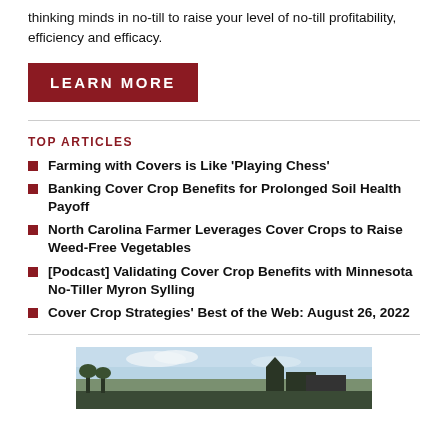thinking minds in no-till to raise your level of no-till profitability, efficiency and efficacy.
LEARN MORE
TOP ARTICLES
Farming with Covers is Like ‘Playing Chess’
Banking Cover Crop Benefits for Prolonged Soil Health Payoff
North Carolina Farmer Leverages Cover Crops to Raise Weed-Free Vegetables
[Podcast] Validating Cover Crop Benefits with Minnesota No-Tiller Myron Sylling
Cover Crop Strategies’ Best of the Web: August 26, 2022
[Figure (photo): Outdoor farm scene with sky, vegetation and farm structures at the bottom of the page]